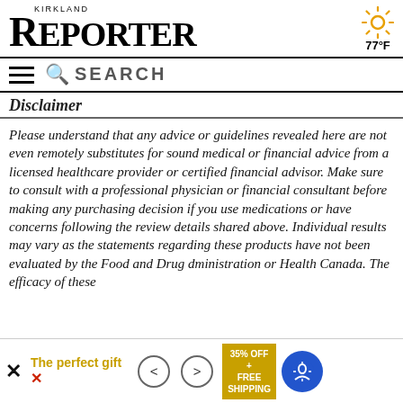KIRKLAND REPORTER — 77°F
Disclaimer
Please understand that any advice or guidelines revealed here are not even remotely substitutes for sound medical or financial advice from a licensed healthcare provider or certified financial advisor. Make sure to consult with a professional physician or financial consultant before making any purchasing decision if you use medications or have concerns following the review details shared above. Individual results may vary as the statements regarding these products have not been evaluated by the Food and Drug dministration or Health Canada. The efficacy of these